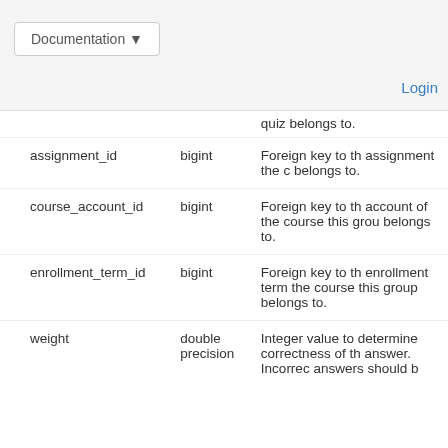Documentation  Login
| column | type | description |
| --- | --- | --- |
|  |  | quiz belongs to. |
| assignment_id | bigint | Foreign key to the assignment the quiz belongs to. |
| course_account_id | bigint | Foreign key to the account of the course this group belongs to. |
| enrollment_term_id | bigint | Foreign key to the enrollment term of the course this group belongs to. |
| weight | double precision | Integer value to determine correctness of the answer. Incorrect answers should b... |